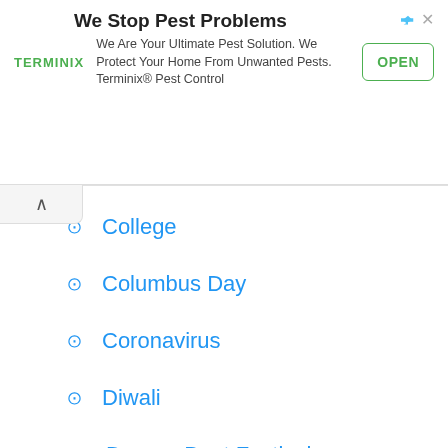[Figure (screenshot): Terminix advertisement banner: 'We Stop Pest Problems' with OPEN button]
College
Columbus Day
Coronavirus
Diwali
Dragon Boat Festival
Earth Day
Easter
Emoji Movie
Fall